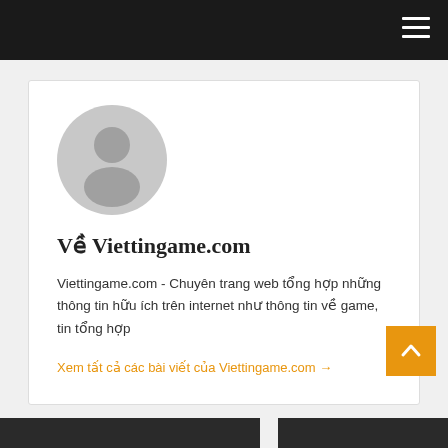[Figure (illustration): Default user avatar — circular grey silhouette of a person on white background]
Về Viettingame.com
Viettingame.com - Chuyên trang web tổng hợp những thông tin hữu ích trên internet như thông tin về game, tin tổng hợp
Xem tất cả các bài viết của Viettingame.com →